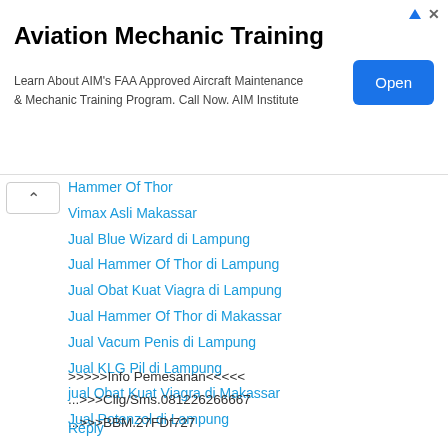[Figure (screenshot): Advertisement banner for Aviation Mechanic Training with an Open button]
Aviation Mechanic Training
Learn About AIM's FAA Approved Aircraft Maintenance & Mechanic Training Program. Call Now. AIM Institute
Hammer Of Thor
Vimax Asli Makassar
Jual Blue Wizard di Lampung
Jual Hammer Of Thor di Lampung
Jual Obat Kuat Viagra di Lampung
Jual Hammer Of Thor di Makassar
Jual Vacum Penis di Lampung
Jual KLG Pil di Lampung
jual Obat Kuat Viagra di Makassar
Jual Potenzol di Lampung
>>>>>Info Pemesanan<<<<<
...>>>Cllg/Sms.081226266667
...>>>BBM.27FDf727
Reply